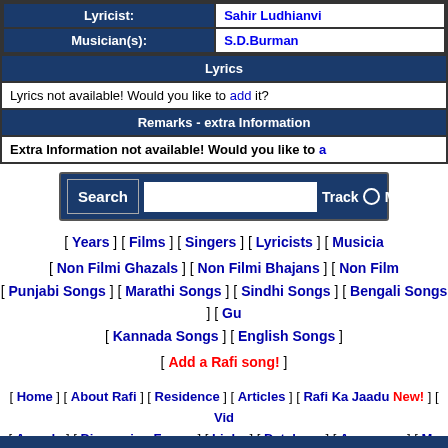| Lyricist: | Sahir Ludhianvi |
| Musician(s): | S.D.Burman |
Lyrics
Lyrics not available! Would you like to add it?
Remarks - extra Information
Extra Information not available! Would you like to a...
[Figure (screenshot): Search form with text input, Track radio button, and Movie option]
[ Years ] [ Films ] [ Singers ] [ Lyricists ] [ Musicia...
[ Non Filmi Ghazals ] [ Non Filmi Bhajans ] [ Non Film... [ Punjabi Songs ] [ Marathi Songs ] [ Sindhi Songs ] [ Bengali Songs ] [ Gu... [ Kannada Songs ] [ English Songs ]
[ Add a Rafi song! ]
[ Home ] [ About Rafi ] [ Residence ] [ Articles ] [ Rafi Ka Jaadu New! ] [ Vid... [ Awards ] [ Discussion Forum ] [ Links ] [ Database ] [ Announce ] [ Me... [ Death Anniversary Tributes ] [ Birthday celebrations ] [ Feedback ] [
Copyright ◆ 2000-2007. All Rights Reserved. Entries (RSS) and Comments